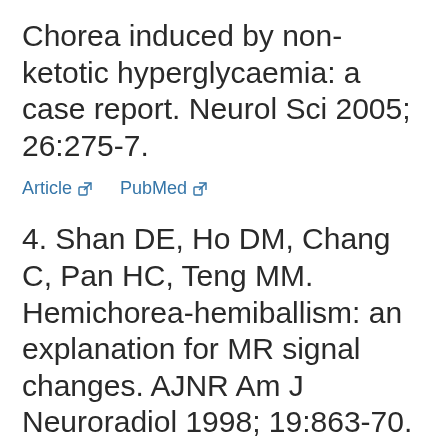Chorea induced by non-ketotic hyperglycaemia: a case report. Neurol Sci 2005; 26:275-7.
Article  PubMed
4. Shan DE, Ho DM, Chang C, Pan HC, Teng MM. Hemichorea-hemiballism: an explanation for MR signal changes. AJNR Am J Neuroradiol 1998; 19:863-70.
PubMed